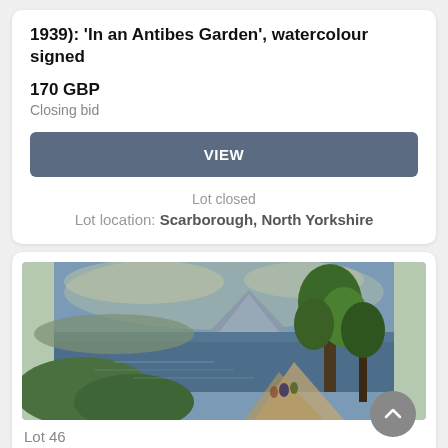...Joseph Alfred Tony (British, Group 1872–1939): 'In an Antibes Garden', watercolour signed
170 GBP
Closing bid
VIEW
Lot closed
Lot location: Scarborough, North Yorkshire
[Figure (photo): Painting of a scenic landscape with a large lake or bay, a mountain peak in the background, lush green trees on the right, and small figures on a path in the lower right. Painted in a classical naturalistic style.]
Lot 46